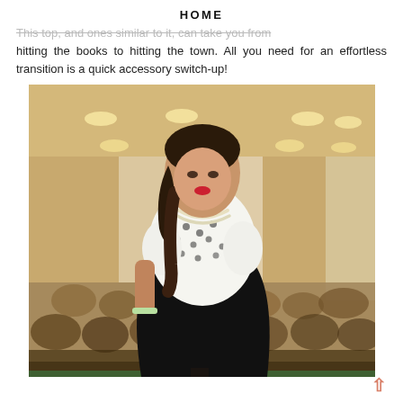HOME
This top, and ones similar to it, can take you from hitting the books to hitting the town. All you need for an effortless transition is a quick accessory switch-up!
[Figure (photo): A young woman with dark braided hair wearing a white patterned short-sleeve top with a black skirt and pearl necklace, standing in what appears to be a large hall or gymnasium with blurred audience in the background.]